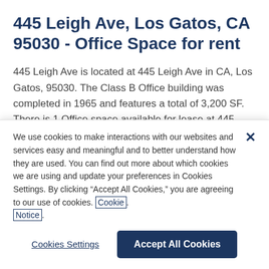445 Leigh Ave, Los Gatos, CA 95030 - Office Space for rent
445 Leigh Ave is located at 445 Leigh Ave in CA, Los Gatos, 95030. The Class B Office building was completed in 1965 and features a total of 3,200 SF. There is 1 Office space available for lease at 445 Leigh Ave, Los Gatos, CA, 95030, totaling 3,200 SF. The largest space available
We use cookies to make interactions with our websites and services easy and meaningful and to better understand how they are used. You can find out more about which cookies we are using and update your preferences in Cookies Settings. By clicking “Accept All Cookies,” you are agreeing to our use of cookies. Cookie Notice.
Cookies Settings
Accept All Cookies